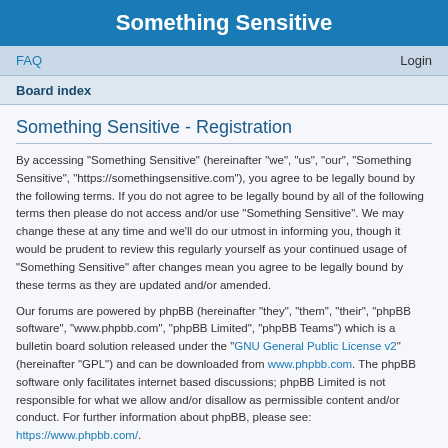Something Sensitive
FAQ    Login
Board index
Something Sensitive - Registration
By accessing “Something Sensitive” (hereinafter “we”, “us”, “our”, “Something Sensitive”, “https://somethingsensitive.com”), you agree to be legally bound by the following terms. If you do not agree to be legally bound by all of the following terms then please do not access and/or use “Something Sensitive”. We may change these at any time and we’ll do our utmost in informing you, though it would be prudent to review this regularly yourself as your continued usage of “Something Sensitive” after changes mean you agree to be legally bound by these terms as they are updated and/or amended.
Our forums are powered by phpBB (hereinafter “they”, “them”, “their”, “phpBB software”, “www.phpbb.com”, “phpBB Limited”, “phpBB Teams”) which is a bulletin board solution released under the “GNU General Public License v2” (hereinafter “GPL”) and can be downloaded from www.phpbb.com. The phpBB software only facilitates internet based discussions; phpBB Limited is not responsible for what we allow and/or disallow as permissible content and/or conduct. For further information about phpBB, please see: https://www.phpbb.com/.